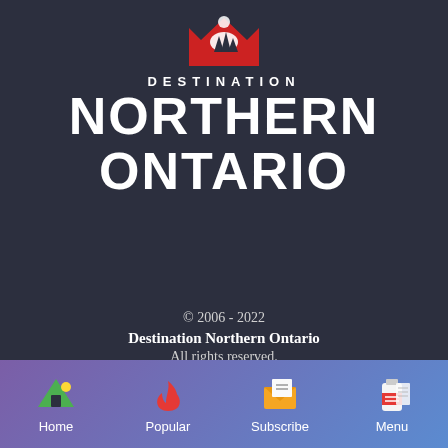[Figure (logo): Destination Northern Ontario logo with red crown/badge shape containing white trees and a sun/moon, with 'DESTINATION' text above 'NORTHERN ONTARIO' in large bold white type]
© 2006 - 2022
Destination Northern Ontario
All rights reserved.
Privacy Policy
[Figure (infographic): Navigation bar with gradient purple-blue background showing four items: Home (green tent with sun icon), Popular (red flame icon), Subscribe (envelope with document icon), Menu (document/newspaper icon)]